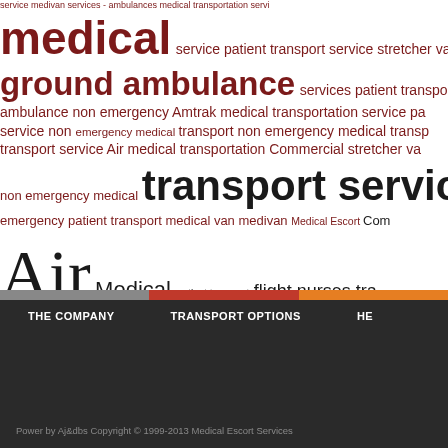[Figure (infographic): Word cloud of medical transportation related search terms. Larger words include 'medical', 'ground ambulance', 'transport service', 'Air', with red and dark coloring. Terms include: service medivan services ambulances medical transportation service, medical, service patient transport service, stretcher van service, ground ambulance, services patient transportation ambulance, ambulance non emergency Amtrak medical transportation service, service non emergency medical transport non emergency medical transport, transport service Air medical transportation Commercial stretcher van, non emergency medical transport service Air medical, emergency patient transport medical van medivan Medical Escort Commercial, Air, ambulances Ambulance services Medical patient transport flight nurses transport, companion]
THE COMPANY   TRANSPORT OPTIONS   HE
Power by Aj&dbs Copyright © 1999-2013 Medical Escort Services